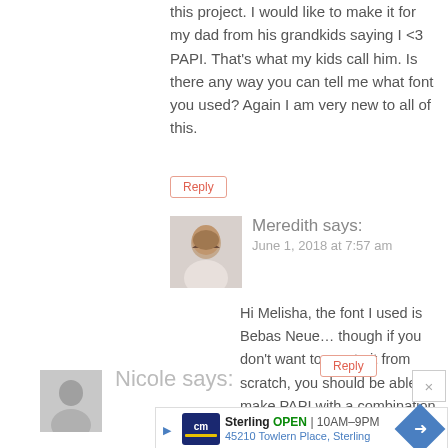this project. I would like to make it for my dad from his grandkids saying I <3 PAPI. That's what my kids call him. Is there any way you can tell me what font you used? Again I am very new to all of this.
Reply
[Figure (photo): Profile photo of commenter Meredith - woman with brown hair]
Meredith says:
June 1, 2018 at 7:57 am
Hi Melisha, the font I used is Bebas Neue… though if you don't want to create it from scratch, you should be able to make PAPI with a combination of the letters from my "GRANDPA" file and the "I" from the DADDY file.
Reply
[Figure (photo): Default grey avatar for Nicole]
Nicole says:
Sterling OPEN | 10AM–9PM
45210 Towlern Place, Sterling